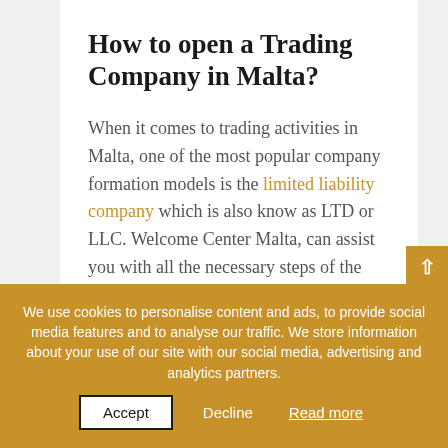How to open a Trading Company in Malta?
When it comes to trading activities in Malta, one of the most popular company formation models is the limited liability company which is also know as LTD or LLC. Welcome Center Malta, can assist you with all the necessary steps of the company's formation including registration of such companies and VAT registration which is a must, for a company to be able to acquire all the
We use cookies to personalise content and ads, to provide social media features and to analyse our traffic. We store information about your use of our site with our social media, advertising and analytics partners.
Accept   Decline   Read more